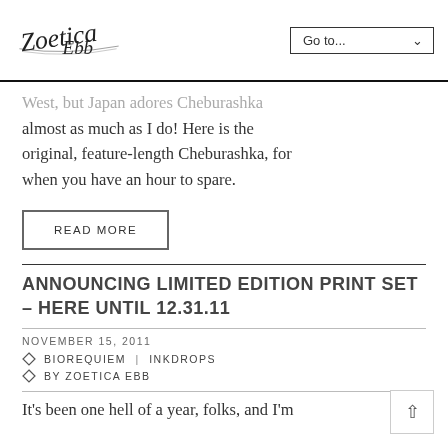Zoetica Ebb — Go to...
West, but Japan adores Cheburashka almost as much as I do! Here is the original, feature-length Cheburashka, for when you have an hour to spare.
READ MORE
ANNOUNCING LIMITED EDITION PRINT SET – HERE UNTIL 12.31.11
NOVEMBER 15, 2011
BIOREQUIEM | INKDROPS
BY ZOETICA EBB
It's been one hell of a year, folks, and I'm